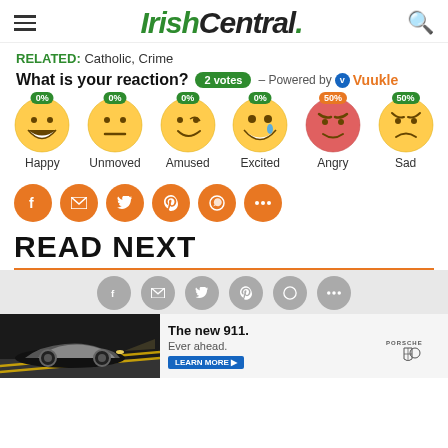IrishCentral.
RELATED: Catholic, Crime
What is your reaction? 2 votes – Powered by Vuukle
[Figure (infographic): Six emoji reaction icons with percentage labels: Happy 0%, Unmoved 0%, Amused 0%, Excited 0%, Angry 50%, Sad 50%]
[Figure (infographic): Orange social share buttons: Facebook, Email, Twitter, Pinterest, WhatsApp, More]
READ NEXT
[Figure (infographic): Gray social share buttons row: Facebook, Email, Twitter, Pinterest, WhatsApp, More]
[Figure (photo): Porsche 911 advertisement: The new 911. Ever ahead. LEARN MORE button with Porsche logo.]